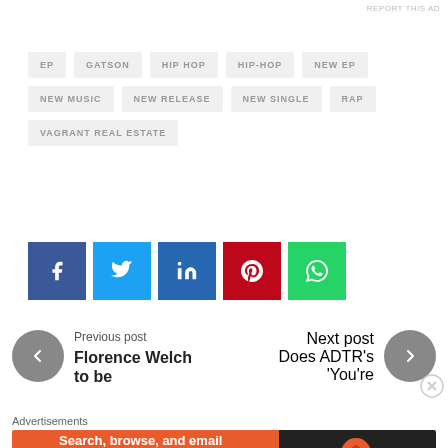REPORT THIS AD
EP
GATSON
HIP HOP
HIP-HOP
NEW EP
NEW MUSIC
NEW RELEASE
NEW SINGLE
RAP
VAGRANT REAL ESTATE
[Figure (other): Social sharing buttons: Facebook, Twitter, LinkedIn, Pinterest, WhatsApp]
Previous post
Florence Welch to be
Next post
Does ADTR's 'You're
Advertisements
[Figure (other): DuckDuckGo advertisement banner: Search, browse, and email with more privacy. All in One Free App]